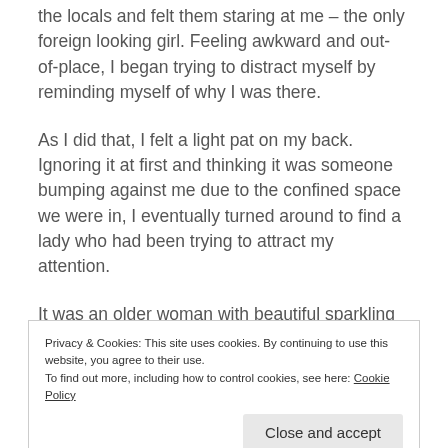the locals and felt them staring at me – the only foreign looking girl. Feeling awkward and out-of-place, I began trying to distract myself by reminding myself of why I was there.
As I did that, I felt a light pat on my back. Ignoring it at first and thinking it was someone bumping against me due to the confined space we were in, I eventually turned around to find a lady who had been trying to attract my attention.
It was an older woman with beautiful sparkling eyes
Privacy & Cookies: This site uses cookies. By continuing to use this website, you agree to their use.
To find out more, including how to control cookies, see here: Cookie Policy
Close and accept